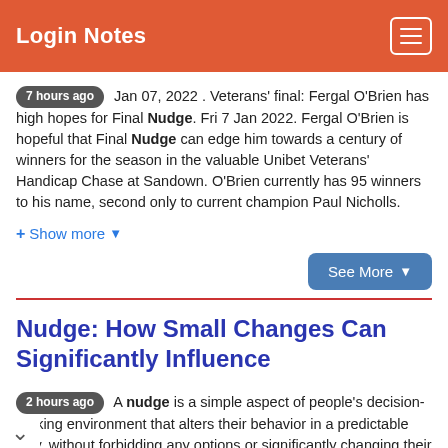Login Notes
7 hours ago  Jan 07, 2022 . Veterans' final: Fergal O'Brien has high hopes for Final Nudge. Fri 7 Jan 2022. Fergal O'Brien is hopeful that Final Nudge can edge him towards a century of winners for the season in the valuable Unibet Veterans' Handicap Chase at Sandown. O'Brien currently has 95 winners to his name, second only to current champion Paul Nicholls.
+ Show more
See More
Nudge: How Small Changes Can Significantly Influence
2 hours ago  A nudge is a simple aspect of people's decision-making environment that alters their behavior in a predictable way, without forbidding any options or significantly changing their incentives.. For example, if a school wants to reduce the amount la that students drink, then placing water bottles instead of